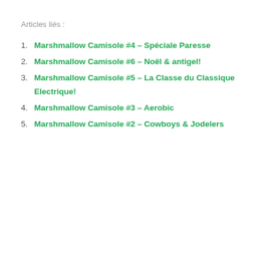Articles liés :
Marshmallow Camisole #4 – Spéciale Paresse
Marshmallow Camisole #6 – Noël & antigel!
Marshmallow Camisole #5 – La Classe du Classique Electrique!
Marshmallow Camisole #3 – Aerobic
Marshmallow Camisole #2 – Cowboys & Jodelers